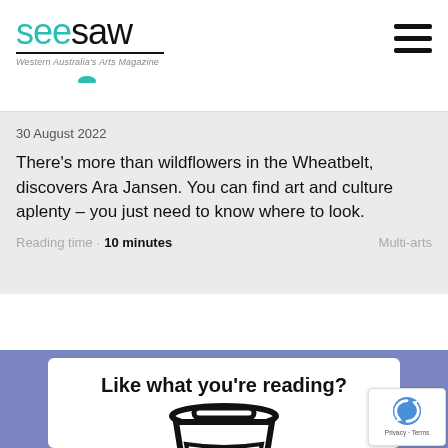seesaw – Western Australia's Arts Magazine
30 August 2022
There's more than wildflowers in the Wheatbelt, discovers Ara Jansen. You can find art and culture aplenty – you just need to know where to look.
Reading time · 10 minutes   Multi-arts
Like what you're reading?
[Figure (illustration): Illustration of a takeaway coffee cup with a yellow element, drawn in bold black outline style on white background, inside a promo card]